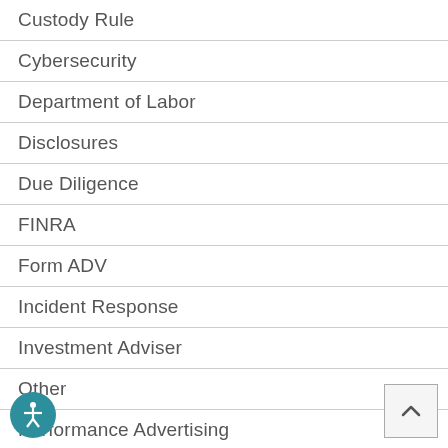Custody Rule
Cybersecurity
Department of Labor
Disclosures
Due Diligence
FINRA
Form ADV
Incident Response
Investment Adviser
Other
Performance Advertising
Regulatory Examinations
Securities and Exchange Commission (SEC)